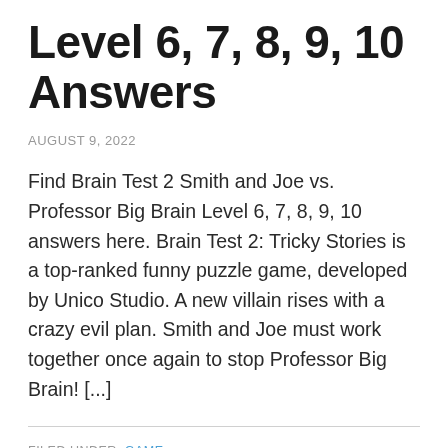Level 6, 7, 8, 9, 10 Answers
AUGUST 9, 2022
Find Brain Test 2 Smith and Joe vs. Professor Big Brain Level 6, 7, 8, 9, 10 answers here. Brain Test 2: Tricky Stories is a top-ranked funny puzzle game, developed by Unico Studio. A new villain rises with a crazy evil plan. Smith and Joe must work together once again to stop Professor Big Brain! [...]
FILED UNDER: GAME